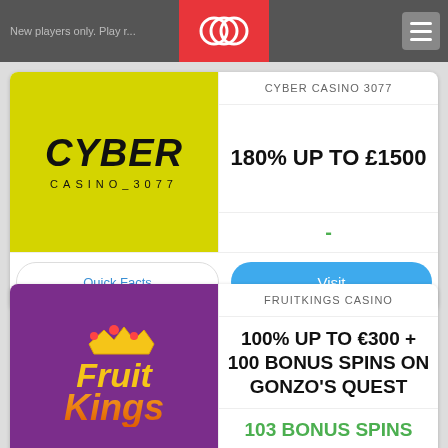New players only. Play r...
[Figure (logo): Site logo - three overlapping circles on red background]
CYBER CASINO 3077
[Figure (logo): Cyber Casino 3077 logo - yellow background with bold italic CYBER text and CASINO_3077 subtitle]
180% UP TO £1500
Quick Facts
Visit
FRUITKINGS CASINO
[Figure (logo): FruitKings logo on purple background with crown and colorful Fruit Kings text]
100% UP TO €300 + 100 BONUS SPINS ON GONZO'S QUEST
103 BONUS SPINS